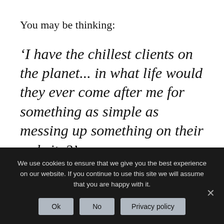You may be thinking:
‘I have the chillest clients on the planet... in what life would they ever come after me for something as simple as messing up something on their website?’
But I promise you, this is not something you want to find out the hard way!
What about your own website? Have you added a
We use cookies to ensure that we give you the best experience on our website. If you continue to use this site we will assume that you are happy with it.
Ok | No | Privacy policy